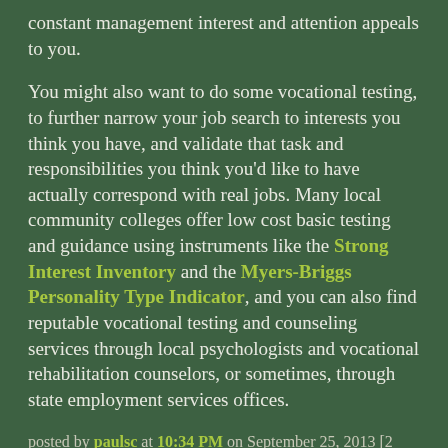constant management interest and attention appeals to you.
You might also want to do some vocational testing, to further narrow your job search to interests you think you have, and validate that task and responsibilities you think you'd like to have actually correspond with real jobs. Many local community colleges offer low cost basic testing and guidance using instruments like the Strong Interest Inventory and the Myers-Briggs Personality Type Indicator, and you can also find reputable vocational testing and counseling services through local psychologists and vocational rehabilitation counselors, or sometimes, through state employment services offices.
posted by paulsc at 10:34 PM on September 25, 2013 [2 favorites]
Some type of job at a museum or art gallery?